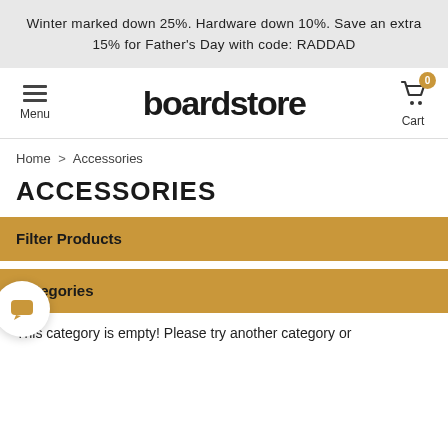Winter marked down 25%. Hardware down 10%. Save an extra 15% for Father's Day with code: RADDAD
[Figure (screenshot): Boardstore website navigation bar with hamburger menu icon labeled Menu on the left, boardstore logo in center, and shopping cart icon with badge showing 0 and label Cart on the right]
Home > Accessories
ACCESSORIES
Filter Products
Categories
This category is empty! Please try another category or